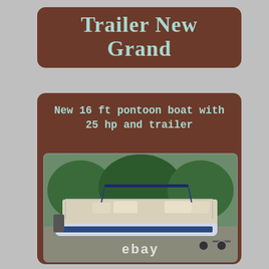Trailer New Grand
New 16 ft pontoon boat with 25 hp and trailer
[Figure (photo): Photo of a 16 ft pontoon boat with blue and white coloring on a trailer, with ebay watermark]
[Figure (photo): Partial photo of pontoon boat interior showing seating]